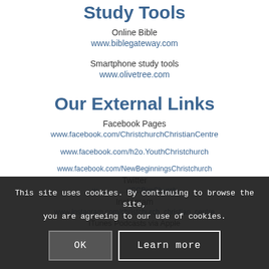Study Tools
Online Bible
www.biblegateway.com
Smartphone study tools
www.olivetree.com
Our External Links
Facebook Pages
www.facebook.com/ChristchurchChristianCentre
www.facebook.com/h2o.YouthChristchurch
www.facebook.com/NewBeginningsChristchurch
Twitter
w...r/CCBimChurch
Instagram
www.instagram.com/christchurch_christian_centre
iTunes Podcasts via Apple
This site uses cookies. By continuing to browse the site, you are agreeing to our use of cookies.
OK
Learn more